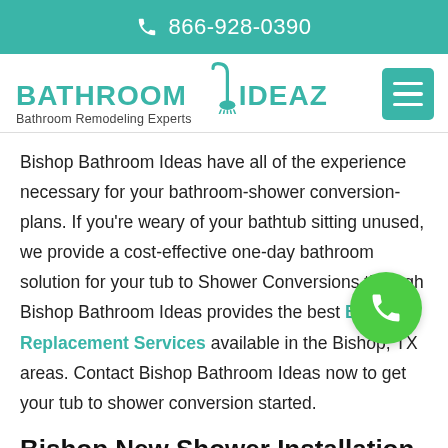866-928-0390
[Figure (logo): Bathroom Ideaz logo with shower head icon and text 'Bathroom Remodeling Experts']
Bishop Bathroom Ideas have all of the experience necessary for your bathroom-shower conversion-plans. If you're weary of your bathtub sitting unused, we provide a cost-effective one-day bathroom solution for your tub to Shower Conversions through Bishop Bathroom Ideas provides the best Bathtub Replacement Services available in the Bishop, TX areas. Contact Bishop Bathroom Ideas now to get your tub to shower conversion started.
Bishop New Shower Installation